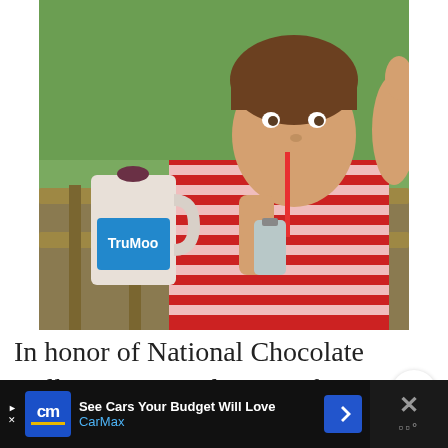[Figure (photo): A young boy in a red and white striped polo shirt drinking from a small bottle with a red straw, giving a thumbs up. Next to him on a wooden railing is a gallon jug of TruMoo chocolate milk. Green grass is visible in the background.]
In honor of National Chocolate Milk Day, we're sharing a few things that just taste better with
[Figure (screenshot): CarMax advertisement banner at the bottom: 'See Cars Your Budget Will Love' with CarMax logo and a blue navigation arrow icon.]